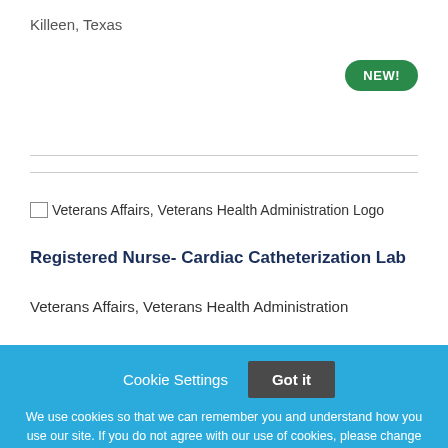Killeen, Texas
NEW!
[Figure (logo): Veterans Affairs, Veterans Health Administration Logo]
Registered Nurse- Cardiac Catheterization Lab
Veterans Affairs, Veterans Health Administration
Cookie Settings  Got it
We use cookies so that we can remember you and understand how you use our site. If you do not agree with our use of cookies, please change the current settings found in our Cookie Policy. Otherwise, you agree to the use of the cookies as they are currently set.